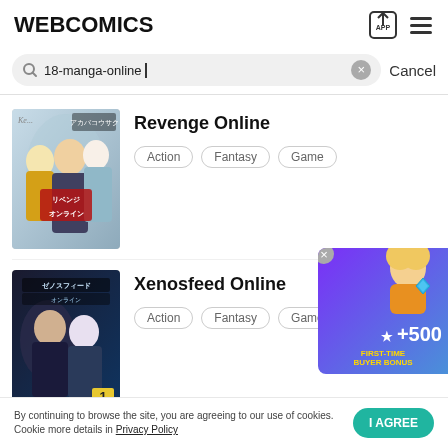WEBCOMICS
18-manga-online
[Figure (illustration): Manga cover art for Revenge Online showing anime characters with Japanese text リベンジオンライン]
Revenge Online
Action · Fantasy · Game
[Figure (illustration): Manga cover art for Xenosfeed Online showing anime characters with Japanese text ゼノスフィードオンライン]
Xenosfeed Online
Action · Fantasy · Game
[Figure (infographic): Advertisement banner: anime girl character with +500 gems, FIRST-TIME BUYER BONUS]
By continuing to browse the site, you are agreeing to our use of cookies.
Cookie more details in Privacy Policy
I AGREE